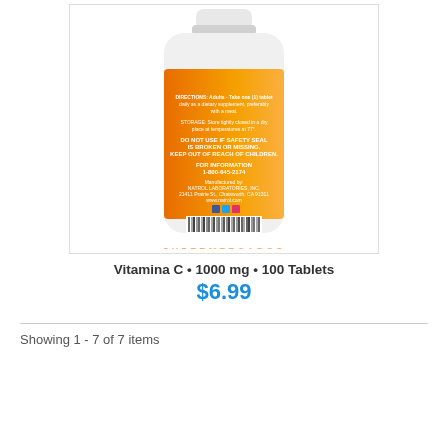[Figure (photo): Back of a white plastic supplement bottle with orange label showing Vitamin C 1000mg, barcode, and Supermercados El Bodega watermark]
Vitamina C • 1000 mg • 100 Tablets
$6.99
Showing 1 - 7 of 7 items